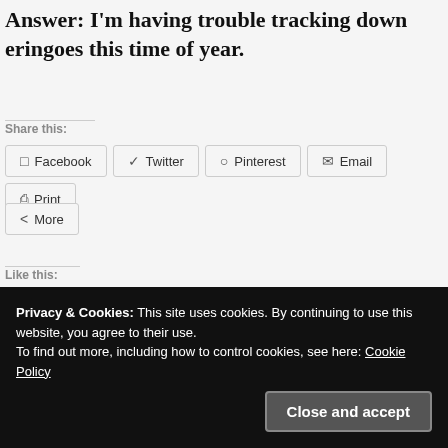Answer: I'm having trouble tracking down eringoes this time of year.
Share this:
Facebook
Twitter
Pinterest
Email
Print
More
Like this:
Loading...
Privacy & Cookies: This site uses cookies. By continuing to use this website, you agree to their use.
To find out more, including how to control cookies, see here: Cookie Policy
[Figure (screenshot): Close and accept button for cookie banner]
[Figure (photo): Two images in a row at the bottom of the page, partially obscured by cookie banner]